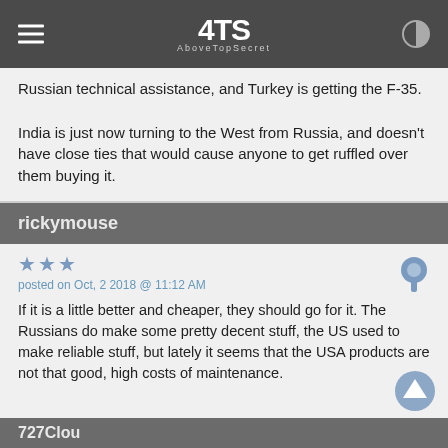ATS AboveTopSecret
Russian technical assistance, and Turkey is getting the F-35.

India is just now turning to the West from Russia, and doesn't have close ties that would cause anyone to get ruffled over them buying it.
rickymouse
posted on Oct, 2 2018 @ 11:12 AM
If it is a little better and cheaper, they should go for it. The Russians do make some pretty decent stuff, the US used to make reliable stuff, but lately it seems that the USA products are not that good, high costs of maintenance.
727Clou